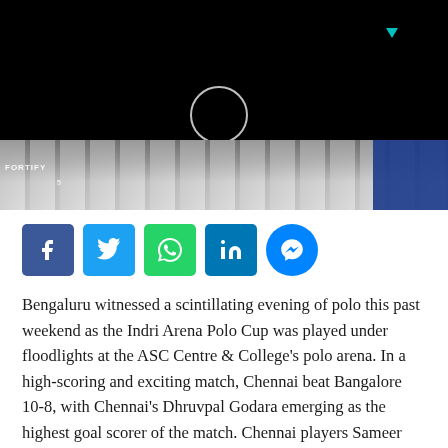[Figure (photo): Dark background with a white circle icon (video play indicator) and a teal arrow icon, above a strip showing polo players in white uniforms with a blue accent on the right side. Text 'FORTIFY' visible on left side.]
[Figure (infographic): Social media share buttons row: Facebook (blue), Twitter (light blue), WhatsApp (green), LinkedIn (dark blue), Messenger (blue circle)]
Bengaluru witnessed a scintillating evening of polo this past weekend as the Indri Arena Polo Cup was played under floodlights at the ASC Centre & College's polo arena. In a high-scoring and exciting match, Chennai beat Bangalore 10-8, with Chennai's Dhruvpal Godara emerging as the highest goal scorer of the match. Chennai players Sameer Mecca and CPO Altaf ably assisted